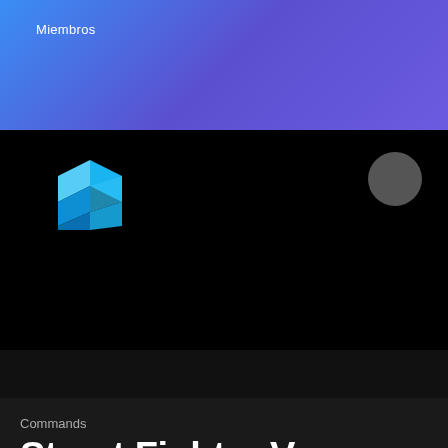Miembros
[Figure (logo): Blue 3D block/cube logo icon]
[Figure (photo): Circular gray avatar icon in upper right]
[Figure (photo): Small dark circular avatar icon in bottom bar]
Commands
Street Fighter V Commands! Check what you can do